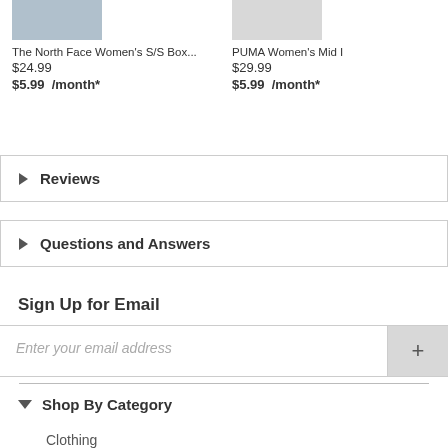[Figure (photo): Product image: The North Face Women's S/S Box... shown partially at top left]
The North Face Women's S/S Box...
$24.99
$5.99 /month*
[Figure (photo): Product image: PUMA Women's Mid I shown partially at top right]
PUMA Women's Mid I
$29.99
$5.99 /month*
▶ Reviews
▶ Questions and Answers
Sign Up for Email
Enter your email address
▼ Shop By Category
Clothing